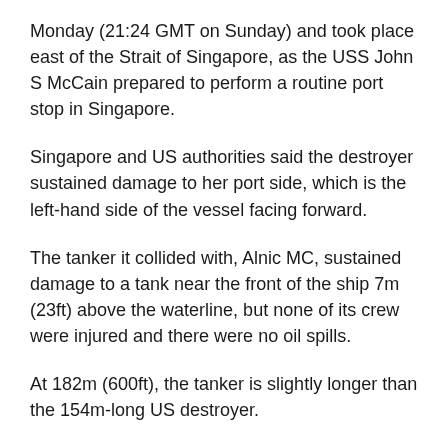Monday (21:24 GMT on Sunday) and took place east of the Strait of Singapore, as the USS John S McCain prepared to perform a routine port stop in Singapore.
Singapore and US authorities said the destroyer sustained damage to her port side, which is the left-hand side of the vessel facing forward.
The tanker it collided with, Alnic MC, sustained damage to a tank near the front of the ship 7m (23ft) above the waterline, but none of its crew were injured and there were no oil spills.
At 182m (600ft), the tanker is slightly longer than the 154m-long US destroyer.